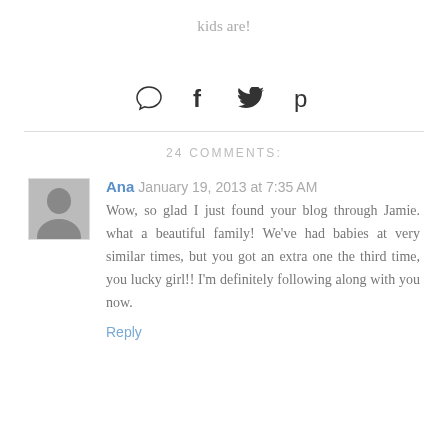kids are!
[Figure (infographic): Social sharing icons: comment bubble, Facebook f, Twitter bird, Pinterest p]
24 COMMENTS:
Ana  January 19, 2013 at 7:35 AM
Wow, so glad I just found your blog through Jamie. what a beautiful family! We've had babies at very similar times, but you got an extra one the third time, you lucky girl!! I'm definitely following along with you now.
Reply